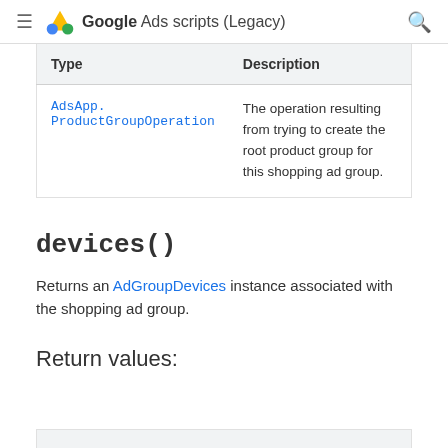Google Ads scripts (Legacy)
| Type | Description |
| --- | --- |
| AdsApp.ProductGroupOperation | The operation resulting from trying to create the root product group for this shopping ad group. |
devices()
Returns an AdGroupDevices instance associated with the shopping ad group.
Return values: